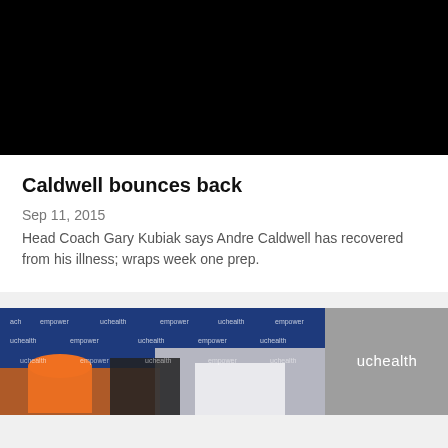[Figure (photo): Black video player thumbnail at top of page]
Caldwell bounces back
Sep 11, 2015
Head Coach Gary Kubiak says Andre Caldwell has recovered from his illness; wraps week one prep.
[Figure (photo): Press conference photo showing people in front of Denver Broncos sponsor backdrop with uchealth and empower logos]
[Figure (photo): Partial image showing uchealth logo on grey background]